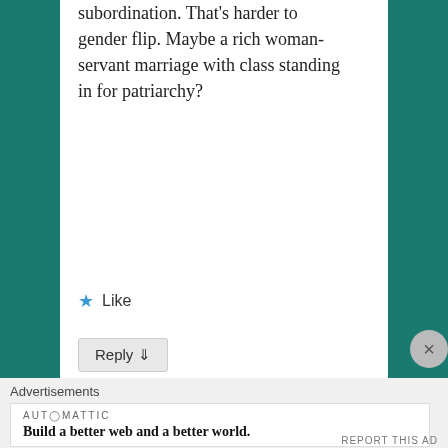subordination. That's harder to gender flip. Maybe a rich woman-servant marriage with class standing in for patriarchy?
Like
Reply ↓
mredlich21 on December 8, 2021 at 8:56 am said:
Advertisements
AUTOMATTIC
Build a better web and a better world.
REPORT THIS AD